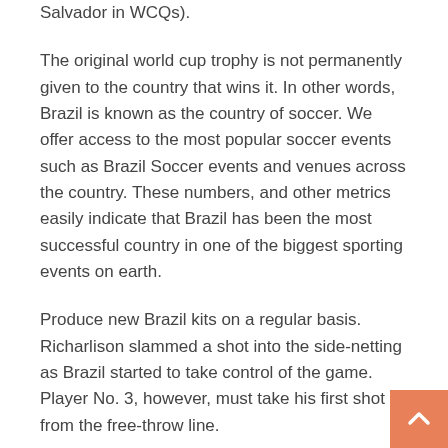Salvador in WCQs).
The original world cup trophy is not permanently given to the country that wins it. In other words, Brazil is known as the country of soccer. We offer access to the most popular soccer events such as Brazil Soccer events and venues across the country. These numbers, and other metrics easily indicate that Brazil has been the most successful country in one of the biggest sporting events on earth.
Produce new Brazil kits on a regular basis. Richarlison slammed a shot into the side-netting as Brazil started to take control of the game. Player No. 3, however, must take his first shot from the free-throw line.
The March 27 match against Panama will likely decide things, although there is an outside shot that a win in Mexico City at the Azteca might wrap